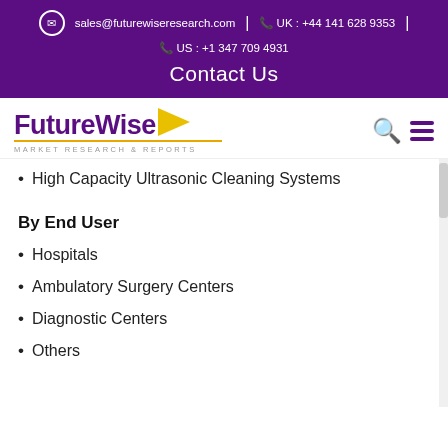sales@futurewiseresearch.com | UK : +44 141 628 9353 | US : +1 347 709 4931
Contact Us
[Figure (logo): FutureWise Market Research & Reports logo with yellow arrow and purple text]
High Capacity Ultrasonic Cleaning Systems
By End User
Hospitals
Ambulatory Surgery Centers
Diagnostic Centers
Others